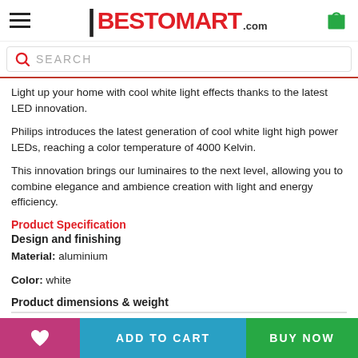[Figure (logo): Bestomart.com logo with hamburger menu and cart icon in header]
Light up your home with cool white light effects thanks to the latest LED innovation.
Philips introduces the latest generation of cool white light high power LEDs, reaching a color temperature of 4000 Kelvin.
This innovation brings our luminaires to the next level, allowing you to combine elegance and ambience creation with light and energy efficiency.
Product Specification
Design and finishing
Material: aluminium
Color: white
Product dimensions & weight